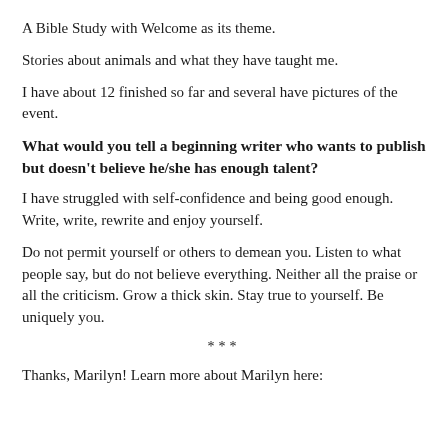A Bible Study with Welcome as its theme.
Stories about animals and what they have taught me.
I have about 12 finished so far and several have pictures of the event.
What would you tell a beginning writer who wants to publish but doesn't believe he/she has enough talent?
I have struggled with self-confidence and being good enough. Write, write, rewrite and enjoy yourself.
Do not permit yourself or others to demean you. Listen to what people say, but do not believe everything. Neither all the praise or all the criticism. Grow a thick skin. Stay true to yourself. Be uniquely you.
***
Thanks, Marilyn! Learn more about Marilyn here: